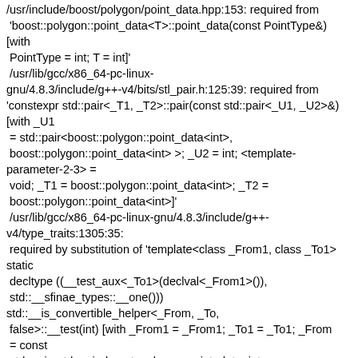/usr/include/boost/polygon/point_data.hpp:153: required from 'boost::polygon::point_data<T>::point_data(const PointType&) [with
 PointType = int; T = int]'
 /usr/lib/gcc/x86_64-pc-linux-gnu/4.8.3/include/g++-v4/bits/stl_pair.h:125:39: required from 'constexpr std::pair<_T1, _T2>::pair(const std::pair<_U1, _U2>&) [with _U1
 = std::pair<boost::polygon::point_data<int>, boost::polygon::point_data<int> >; _U2 = int; <template-parameter-2-3> =
 void; _T1 = boost::polygon::point_data<int>; _T2 = boost::polygon::point_data<int>]'
 /usr/lib/gcc/x86_64-pc-linux-gnu/4.8.3/include/g++-v4/type_traits:1305:35:
 required by substitution of 'template<class _From1, class _To1> static
 decltype ((__test_aux<_To1>(declval<_From1>()),
 std::__sfinae_types::__one()))
std::__is_convertible_helper<_From, _To,
 false>::__test(int) [with _From1 = _From1; _To1 = _To1; _From
 = const
 std::pair<std::pair<boost::polygon::point_data<int>,
 boost::polygon::point_data<int> >, int>&; _To =
 std::pair<boost::polygon::point_data<int>,
 boost::polygon::point_data<int>